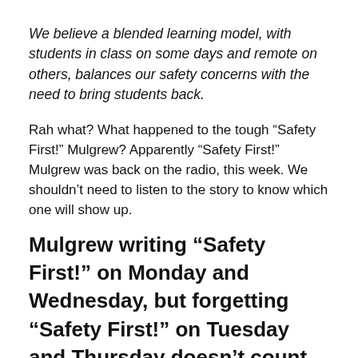We believe a blended learning model, with students in class on some days and remote on others, balances our safety concerns with the need to bring students back.
Rah what? What happened to the tough “Safety First!” Mulgrew? Apparently “Safety First!” Mulgrew was back on the radio, this week. We shouldn’t need to listen to the story to know which one will show up.
Mulgrew writing “Safety First!” on Monday and Wednesday, but forgetting “Safety First!” on Tuesday and Thursday doesn’t count.